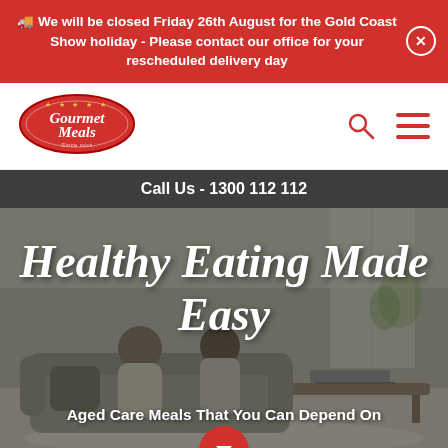🚚 We will be closed Friday 26th August for the Gold Coast Show holiday - Please contact our office for your rescheduled delivery day
[Figure (logo): Gourmet Meals logo — oval red badge with stars and italic script text]
Call Us - 1300 112 112
[Figure (photo): Elderly couple sitting on a sofa in a bright living room, looking at a laptop on a coffee table]
Healthy Eating Made Easy
Aged Care Meals That You Can Depend On